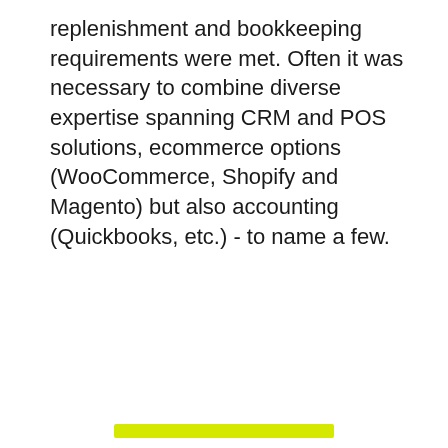replenishment and bookkeeping requirements were met. Often it was necessary to combine diverse expertise spanning CRM and POS solutions, ecommerce options (WooCommerce, Shopify and Magento) but also accounting (Quickbooks, etc.) - to name a few.